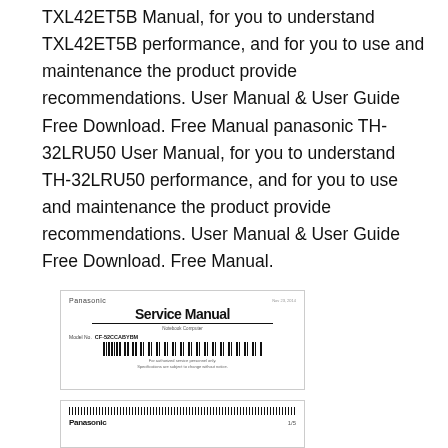TXL42ET5B Manual, for you to understand TXL42ET5B performance, and for you to use and maintenance the product provide recommendations. User Manual & User Guide Free Download. Free Manual panasonic TH-32LRU50 User Manual, for you to understand TH-32LRU50 performance, and for you to use and maintenance the product provide recommendations. User Manual & User Guide Free Download. Free Manual.
[Figure (other): Thumbnail image of a Panasonic Service Manual cover page showing 'Service Manual' title in bold, a model number CF-52CCABYBM, barcode, and small text details.]
[Figure (other): Thumbnail image of a Panasonic document page showing barcode lines at top and Panasonic logo at bottom left with a page number.]